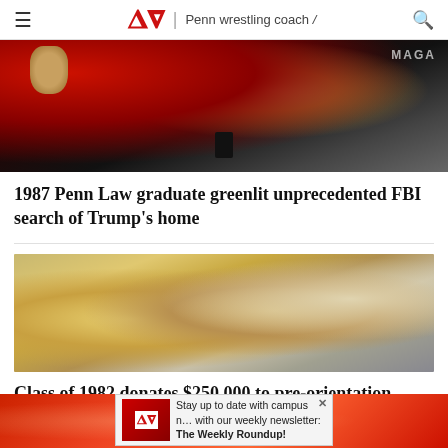DP | Penn wrestling coach /
[Figure (photo): Trump at rally, fist raised, speaking into microphone, red background with MAGA text]
1987 Penn Law graduate greenlit unprecedented FBI search of Trump's home
[Figure (photo): Students at pre-orientation event, two young women in foreground looking down]
Class of 1982 donates $250,000 to pre-orientation programming,
[Figure (photo): Advertisement banner with DP logo and text: Stay up to date with campus news with our weekly newsletter: The Weekly Roundup!]